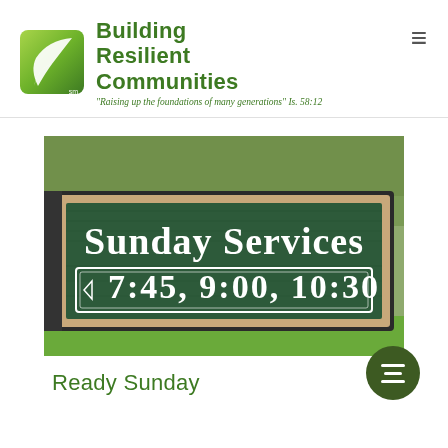[Figure (logo): Building Resilient Communities logo with green leaf/swoosh icon and green bold text. Tagline: 'Raising up the foundations of many generations' Is. 58:12]
[Figure (photo): Close-up photograph of a dark green wooden church sign reading 'Sunday Services' and '7:45, 9:00, 10:30' in white raised lettering with a tan/beige border frame.]
Ready Sunday